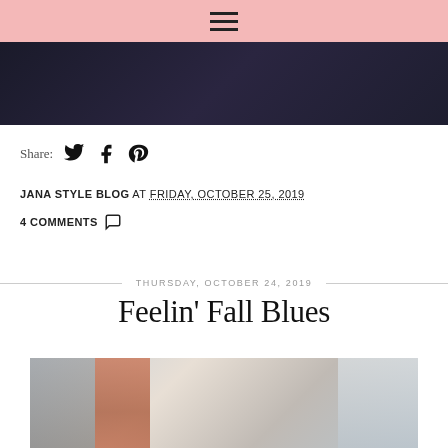Navigation menu (hamburger icon)
[Figure (photo): Dark photo background at top of page, partially cropped]
Share: [Twitter icon] [Facebook icon] [Pinterest icon]
JANA STYLE BLOG AT FRIDAY, OCTOBER 25, 2019
4 COMMENTS [chat bubble icon]
THURSDAY, OCTOBER 24, 2019
Feelin' Fall Blues
[Figure (photo): Outdoor street photo with brick building and windows, daytime]